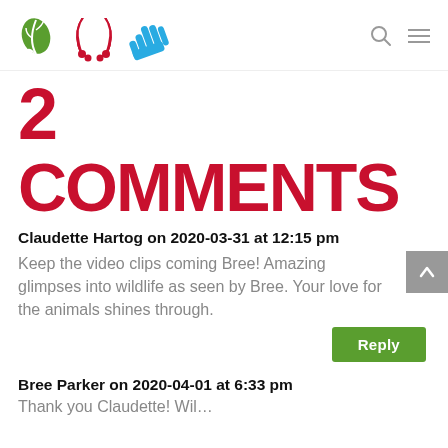[Figure (logo): Three icons: green leaf, dark red footprints, blue hand]
2 COMMENTS
Claudette Hartog on 2020-03-31 at 12:15 pm
Keep the video clips coming Bree! Amazing glimpses into wildlife as seen by Bree. Your love for the animals shines through.
Reply
Bree Parker on 2020-04-01 at 6:33 pm
Thank you Claudette! Wil...